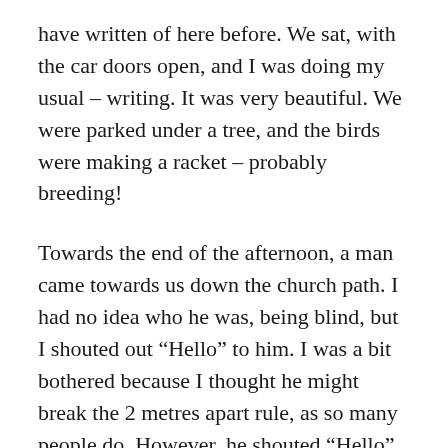have written of here before. We sat, with the car doors open, and I was doing my usual – writing. It was very beautiful. We were parked under a tree, and the birds were making a racket – probably breeding!
Towards the end of the afternoon, a man came towards us down the church path. I had no idea who he was, being blind, but I shouted out “Hello” to him. I was a bit bothered because I thought he might break the 2 metres apart rule, as so many people do. However, he shouted “Hello” back. I realised then who it was. It was the man who owns many many acres of land around there – the rich farmer.